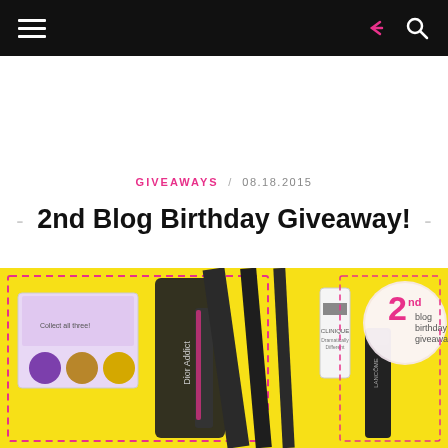Navigation bar with hamburger menu, share icon, and search icon
GIVEAWAYS / 08.18.2015
- 2nd Blog Birthday Giveaway! -
[Figure (photo): Yellow background giveaway image showing makeup products including eye shadow palette, Dior Addict lipstick, Clinique cream tube, and other beauty products with dashed border frame. Pink circle with '2nd blog birthday giveaway' text in upper right.]